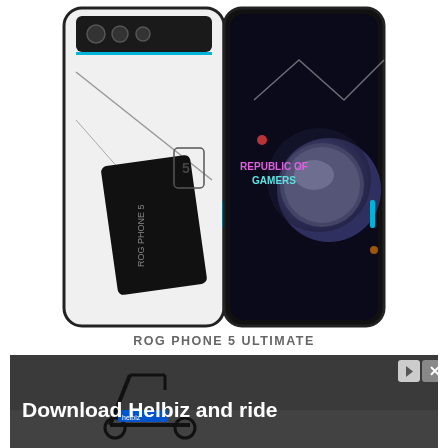[Figure (photo): ASUS ROG Phone 5 Ultimate smartphone shown from both back (white) and front (black with Republic of Gamers display screen) sides side by side]
ROG PHONE 5 ULTIMATE
[Figure (photo): Advertisement banner showing an electric scooter with text 'Download Helbiz and ride' in white bold text on dark background, with ad controls (play and close buttons) in top right corner]